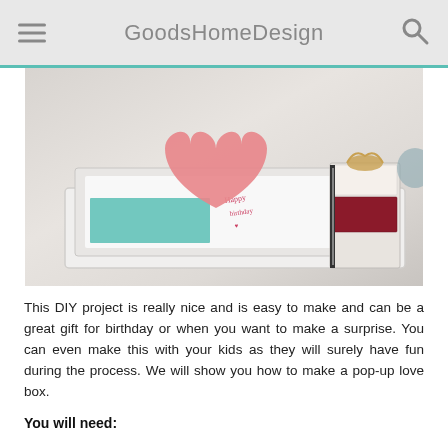GoodsHomeDesign
[Figure (photo): A white matchbox-style box partially open with a pink paper heart popping up from inside, teal paper visible, and handwritten notes. Next to it is a stack of notebooks/books with a decorative ribbon, on a light grey textured background.]
This DIY project is really nice and is easy to make and can be a great gift for birthday or when you want to make a surprise. You can even make this with your kids as they will surely have fun during the process. We will show you how to make a pop-up love box.
You will need: